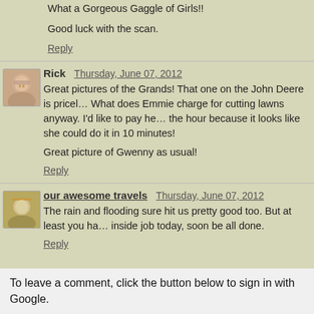What a Gorgeous Gaggle of Girls!!

Good luck with the scan.
Reply
Rick  Thursday, June 07, 2012
Great pictures of the Grands! That one on the John Deere is pricel… What does Emmie charge for cutting lawns anyway. I'd like to pay he… the hour because it looks like she could do it in 10 minutes!

Great picture of Gwenny as usual!
Reply
our awesome travels  Thursday, June 07, 2012
The rain and flooding sure hit us pretty good too. But at least you ha… inside job today, soon be all done.
Reply
To leave a comment, click the button below to sign in with Google.